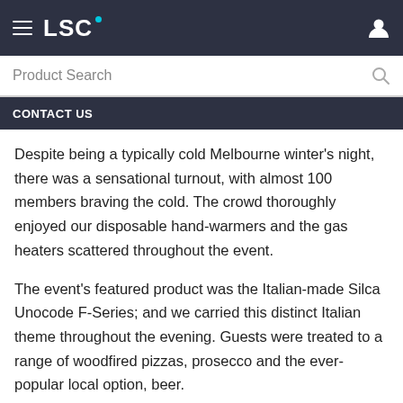LSC
Product Search
CONTACT US
Despite being a typically cold Melbourne winter's night, there was a sensational turnout, with almost 100 members braving the cold. The crowd thoroughly enjoyed our disposable hand-warmers and the gas heaters scattered throughout the event.
The event's featured product was the Italian-made Silca Unocode F-Series; and we carried this distinct Italian theme throughout the evening. Guests were treated to a range of woodfired pizzas, prosecco and the ever-popular local option, beer.